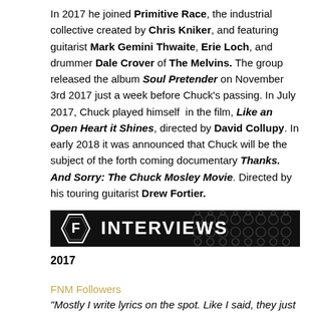In 2017 he joined Primitive Race, the industrial collective created by Chris Kniker, and featuring guitarist Mark Gemini Thwaite, Erie Loch, and drummer Dale Crover of The Melvins. The group released the album Soul Pretender on November 3rd 2017 just a week before Chuck's passing. In July 2017, Chuck played himself in the film, Like an Open Heart it Shines, directed by David Collupy. In early 2018 it was announced that Chuck will be the subject of the forth coming documentary Thanks. And Sorry: The Chuck Mosley Movie. Directed by his touring guitarist Drew Fortier.
[Figure (other): Black banner with decorative pattern showing 'INTERVIEWS' text with an 'F' logo emblem on the left]
2017
FNM Followers
"Mostly I write lyrics on the spot. Like I said, they just seem to